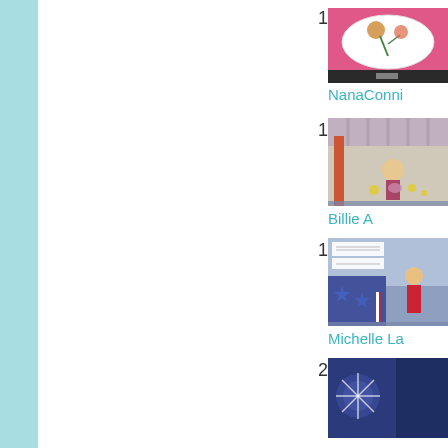17. NanaConni
[Figure (photo): Cross-stitch or needlework image with floral oval design on pink background]
NanaConni
18. Billie A
[Figure (photo): Cross-stitch or needlework image with girl and chicks scene]
Billie A
19. Michelle La
[Figure (photo): Cross-stitch or needlework image with patriotic theme, girl in red dress]
Michelle La
20.
[Figure (photo): Cross-stitch or needlework image, partially visible, dark blue tones]